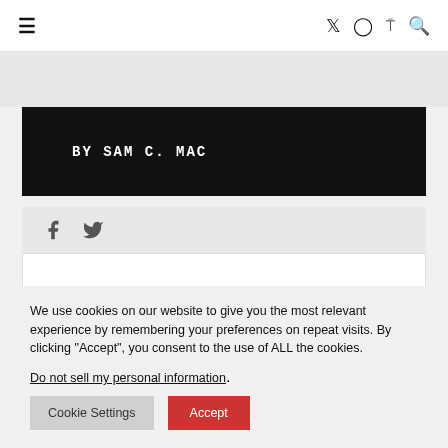≡   [Twitter] [Instagram] [RSS] [Search]
BY SAM C. MAC
[Figure (other): Social share icons: Facebook and Twitter]
YOU MIGHT ALSO LIKE...
We use cookies on our website to give you the most relevant experience by remembering your preferences on repeat visits. By clicking "Accept", you consent to the use of ALL the cookies.
Do not sell my personal information.
Cookie Settings   Accept